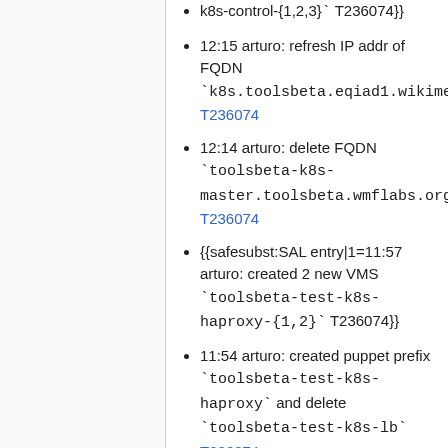k8s-control-{1,2,3}` T236074}}
12:15 arturo: refresh IP addr of FQDN `k8s.toolsbeta.eqiad1.wikimedia.cloud` T236074
12:14 arturo: delete FQDN `toolsbeta-k8s-master.toolsbeta.wmflabs.org` T236074
{{safesubst:SAL entry|1=11:57 arturo: created 2 new VMS `toolsbeta-test-k8s-haproxy-{1,2}` T236074}}
11:54 arturo: created puppet prefix `toolsbeta-test-k8s-haproxy` and delete `toolsbeta-test-k8s-lb` T236074
2019-10-21
15:13 arturo: refresh config in prefix